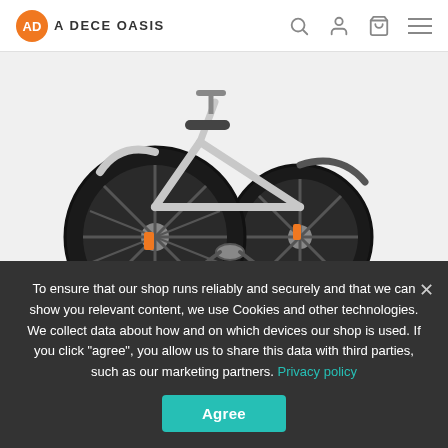A DECE OASIS
[Figure (photo): Folding electric bike (ADO A20+) showing front and rear wheels with black tires, silver/white frame, orange brake calipers, and pedals visible]
ADO A20+ Hybrid 20 Inch Folding Electric Bike
To ensure that our shop runs reliably and securely and that we can show you relevant content, we use Cookies and other technologies. We collect data about how and on which devices our shop is used. If you click "agree", you allow us to share this data with third parties, such as our marketing partners. Privacy policy
Agree